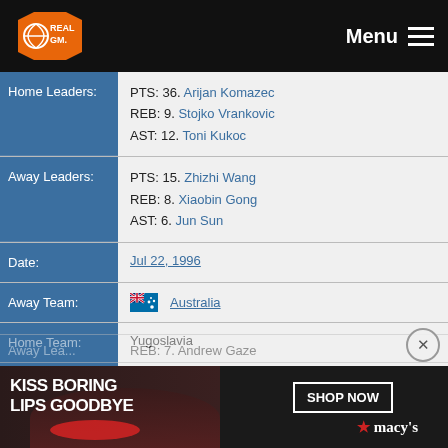RealGM Menu
| Label | Value |
| --- | --- |
| Home Leaders: | PTS: 36. Arijan Komazec
REB: 9. Stojko Vrankovic
AST: 12. Toni Kukoc |
| Away Leaders: | PTS: 15. Zhizhi Wang
REB: 8. Xiaobin Gong
AST: 6. Jun Sun |
| Date: | Jul 22, 1996 |
| Away Team: | Australia |
| Home Team: | Yugoslavia |
| Result: | 68-91 |
| Venue: | Forbes Arena |
| Home Leaders: | PTS: 18. Sasa Obradovic
REB: 5. Zoran Savic |
| Away Lead... | REB: 7. Andrew Gaze |
[Figure (photo): Macy's advertisement banner: KISS BORING LIPS GOODBYE - SHOP NOW - macys logo]